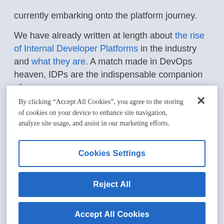currently embarking onto the platform journey.
We have already written at length about the rise of Internal Developer Platforms in the industry and what they are. A match made in DevOps heaven, IDPs are the indispensable companion of any
By clicking “Accept All Cookies”, you agree to the storing of cookies on your device to enhance site navigation, analyze site usage, and assist in our marketing efforts.
Cookies Settings
Reject All
Accept All Cookies